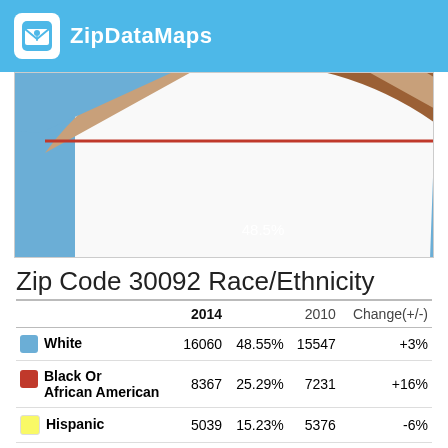ZipDataMaps
[Figure (pie-chart): Zip Code 30092 Race/Ethnicity]
Zip Code 30092 Race/Ethnicity
|  | 2014 |  | 2010 | Change(+/-) |
| --- | --- | --- | --- | --- |
| White | 16060 | 48.55% | 15547 | +3% |
| Black Or African American | 8367 | 25.29% | 7231 | +16% |
| Hispanic | 5039 | 15.23% | 5376 | -6% |